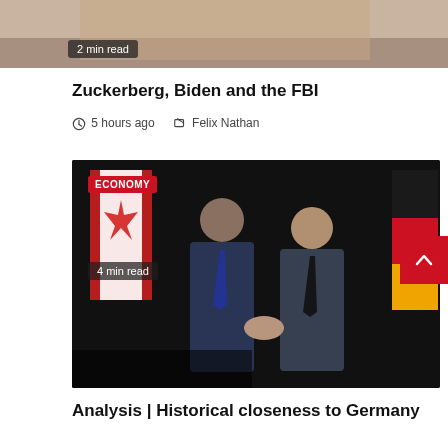[Figure (photo): Cropped top portion of an image with a semi-transparent badge reading '2 min read']
Zuckerberg, Biden and the FBI
5 hours ago  Felix Nathan
[Figure (photo): Two men in dark suits shaking hands in front of Canadian and German flags. An 'ECONOMY' red badge is in the top-left corner. A '4 min read' badge is in the bottom-left corner. A red scroll-to-top button with a chevron/arrow is in the bottom-right corner.]
Analysis | Historical closeness to Germany